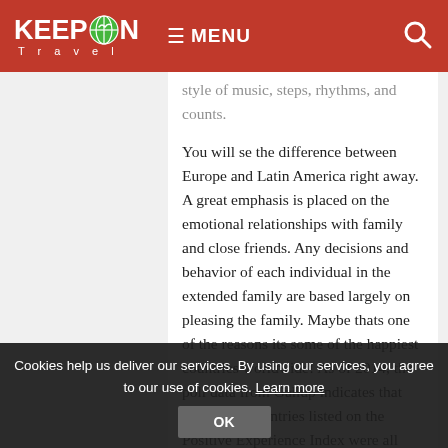KEEP ON Travel — MENU
style of music, steps, rhythms, and counts.
You will se the difference between Europe and Latin America right away. A great emphasis is placed on the emotional relationships with family and close friends. Any decisions and behavior of each individual in the extended family are based largely on pleasing the family. Maybe thats one of the reasons its some of the happiest countries worldwide! As of 2014, the poll data from Gallup indicates that the top 10 countries listed on the Positive Experience Index were all from Latin America.
Latin America has it all and it is entirely up to you what you want to experience.
Cookies help us deliver our services. By using our services, you agree to our use of cookies. Learn more